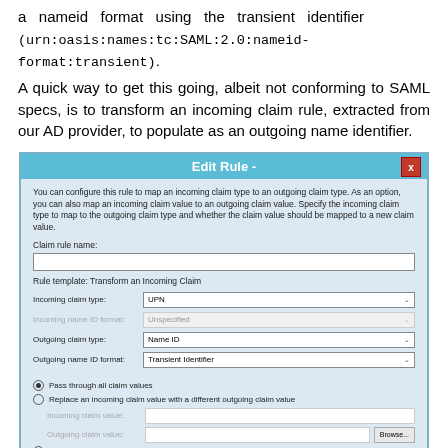a nameid format using the transient identifier (urn:oasis:names:tc:SAML:2.0:nameid-format:transient).
A quick way to get this going, albeit not conforming to SAML specs, is to transform an incoming claim rule, extracted from our AD provider, to populate as an outgoing name identifier.
[Figure (screenshot): Edit Rule dialog box showing claim rule configuration with fields for Claim rule name, Incoming claim type (UPN), Incoming name ID format (Unspecified, grayed out), Outgoing claim type (Name ID), Outgoing name ID format (Transient Identifier), and radio buttons for Pass through all claim values, Replace an incoming claim value, and Replace incoming e-mail suffix claims.]